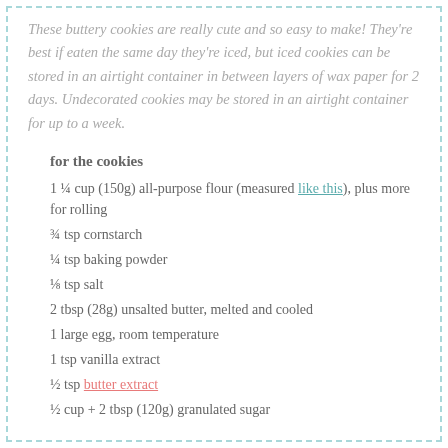These buttery cookies are really cute and so easy to make! They're best if eaten the same day they're iced, but iced cookies can be stored in an airtight container in between layers of wax paper for 2 days. Undecorated cookies may be stored in an airtight container for up to a week.
for the cookies
1 ¼ cup (150g) all-purpose flour (measured like this), plus more for rolling
¾ tsp cornstarch
¼ tsp baking powder
⅛ tsp salt
2 tbsp (28g) unsalted butter, melted and cooled
1 large egg, room temperature
1 tsp vanilla extract
½ tsp butter extract
½ cup + 2 tbsp (120g) granulated sugar